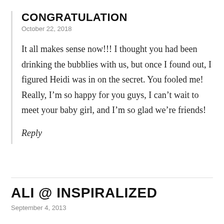CONGRATULATION
October 22, 2018
It all makes sense now!!! I thought you had been drinking the bubblies with us, but once I found out, I figured Heidi was in on the secret. You fooled me! Really, I’m so happy for you guys, I can’t wait to meet your baby girl, and I’m so glad we’re friends!
Reply
ALI @ INSPIRALIZED
September 4, 2013